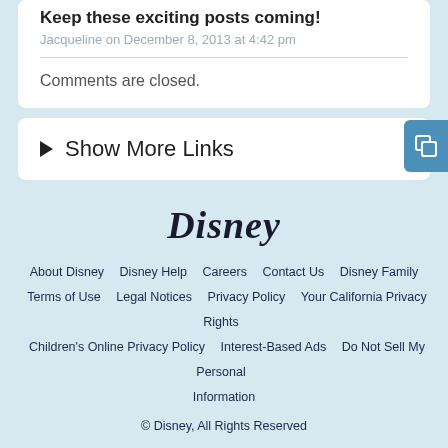Keep these exciting posts coming!
Jacqueline on December 8, 2013 at 4:42 pm
Comments are closed.
► Show More Links
[Figure (logo): Disney logo in cursive script]
About Disney  Disney Help  Careers  Contact Us  Disney Family  Terms of Use  Legal Notices  Privacy Policy  Your California Privacy Rights  Children's Online Privacy Policy  Interest-Based Ads  Do Not Sell My Personal Information  © Disney, All Rights Reserved